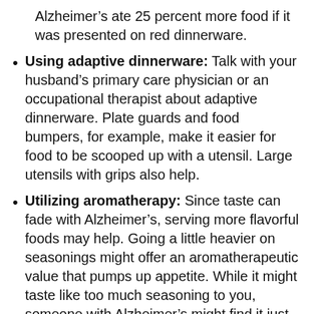Alzheimer’s ate 25 percent more food if it was presented on red dinnerware.
Using adaptive dinnerware: Talk with your husband’s primary care physician or an occupational therapist about adaptive dinnerware. Plate guards and food bumpers, for example, make it easier for food to be scooped up with a utensil. Large utensils with grips also help.
Utilizing aromatherapy: Since taste can fade with Alzheimer’s, serving more flavorful foods may help. Going a little heavier on seasonings might offer an aromatherapeutic value that pumps up appetite. While it might taste like too much seasoning to you, someone with Alzheimer’s might find it just right.